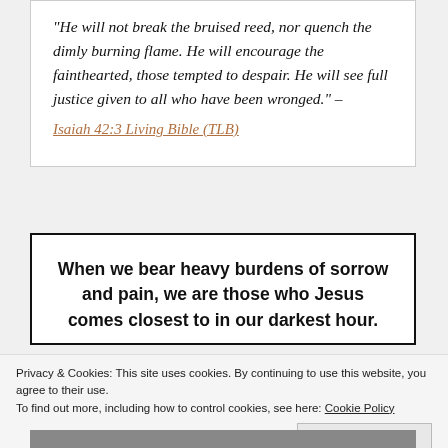“He will not break the bruised reed, nor quench the dimly burning flame. He will encourage the fainthearted, those tempted to despair. He will see full justice given to all who have been wronged.” –
Isaiah 42:3 Living Bible (TLB)
When we bear heavy burdens of sorrow and pain, we are those who Jesus comes closest to in our darkest hour.
Privacy & Cookies: This site uses cookies. By continuing to use this website, you agree to their use.
To find out more, including how to control cookies, see here: Cookie Policy
Close and accept